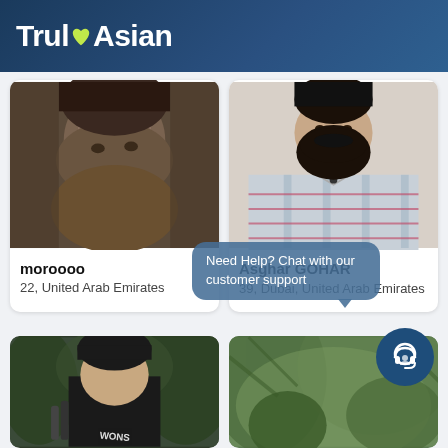TrulyAsian
[Figure (photo): Profile photo of moroooo - close-up of a man's face, dark toned, blurry]
moroooo
22, United Arab Emirates
[Figure (photo): Profile photo of Asghar GOHAR - man with large black beard wearing a plaid shirt]
Asghar GOHAR
39, Dubai, United Arab Emirates
Need Help? Chat with our customer support
[Figure (photo): Partial profile photo - person wearing a black beanie hat with 'WONS' text, outdoor setting]
[Figure (photo): Partial profile photo - outdoor greenery background, blurred]